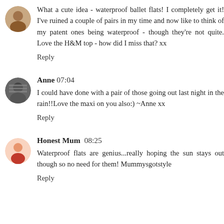What a cute idea - waterproof ballet flats! I completely get it! I've ruined a couple of pairs in my time and now like to think of my patent ones being waterproof - though they're not quite. Love the H&M top - how did I miss that? xx
Reply
Anne 07:04
I could have done with a pair of those going out last night in the rain!!Love the maxi on you also:) ~Anne xx
Reply
Honest Mum 08:25
Waterproof flats are genius...really hoping the sun stays out though so no need for them! Mummysgotstyle
Reply